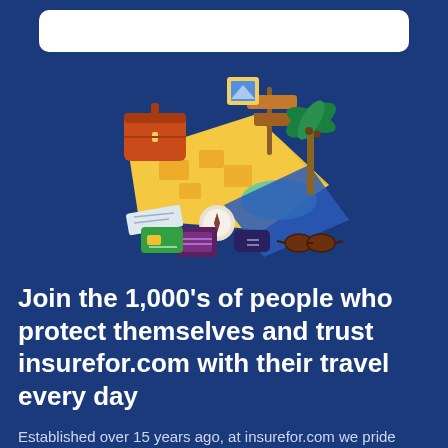[Figure (illustration): Travel-themed isometric illustration showing a map, suitcases (orange), a signpost, a palm tree, a compass, a passport, a credit card, a phone, and sunglasses arranged together on a dark blue background.]
Join the 1,000's of people who protect themselves and trust insurefor.com with their travel every day
Established over 15 years ago, at insurefor.com we pride ourselves on providing great value, comprehensive insurance to all of our customers. We